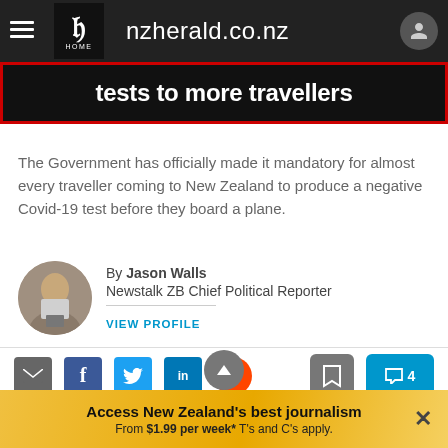nzherald.co.nz
[Figure (screenshot): Hero banner with text: tests to more travellers on dark background with red border]
The Government has officially made it mandatory for almost every traveller coming to New Zealand to produce a negative Covid-19 test before they board a plane.
By Jason Walls
Newstalk ZB Chief Political Reporter
VIEW PROFILE
[Figure (other): Social share icons: email, Facebook, Twitter, LinkedIn, Reddit, and bookmark and comment (4) buttons]
The Government has officially made it mandatory for
Access New Zealand's best journalism
From $1.99 per week* T's and C's apply.